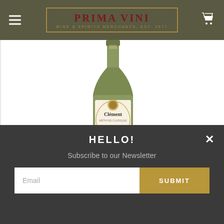Prima Vini — Wine & Spirits Merchants, Est. 1977
[Figure (photo): Wine bottle with label reading 'Clément' — a sparkling wine or Méthode Classique bottle with a cream and gold label, green glass bottle, against a white background]
HELLO!
Subscribe to our Newsletter
Email
SUBMIT